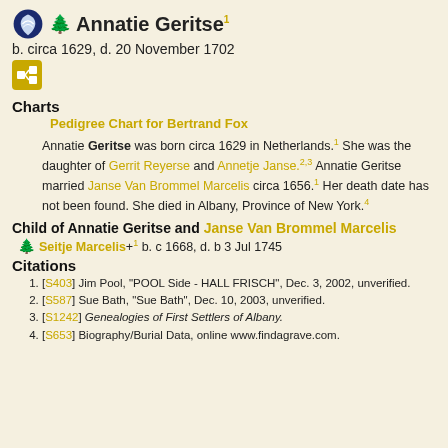Annatie Geritse¹
b. circa 1629, d. 20 November 1702
Charts
Pedigree Chart for Bertrand Fox
Annatie Geritse was born circa 1629 in Netherlands.¹ She was the daughter of Gerrit Reyerse and Annetje Janse.²·³ Annatie Geritse married Janse Van Brommel Marcelis circa 1656.¹ Her death date has not been found. She died in Albany, Province of New York.⁴
Child of Annatie Geritse and Janse Van Brommel Marcelis
Seitje Marcelis+¹ b. c 1668, d. b 3 Jul 1745
Citations
[S403] Jim Pool, "POOL Side - HALL FRISCH", Dec. 3, 2002, unverified.
[S587] Sue Bath, "Sue Bath", Dec. 10, 2003, unverified.
[S1242] Genealogies of First Settlers of Albany.
[S653] Biography/Burial Data, online www.findagrave.com.